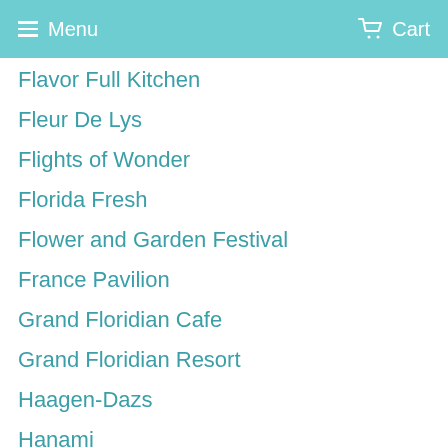Menu  Cart
Flavor Full Kitchen
Fleur De Lys
Flights of Wonder
Florida Fresh
Flower and Garden Festival
France Pavilion
Grand Floridian Cafe
Grand Floridian Resort
Haagen-Dazs
Hanami
Hidden Mickey
Hollywood Studios
Honey Bee-stro
Ice Cream